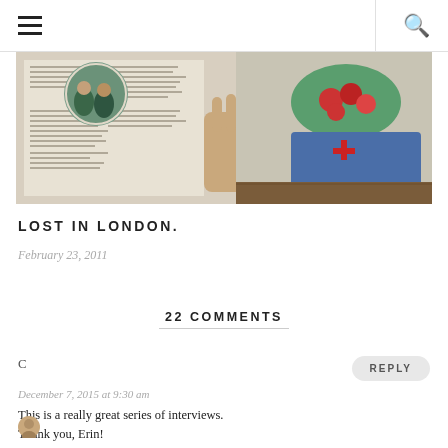Navigation menu and search
[Figure (photo): Open magazine or book spread showing editorial content with a circular inset photo of people and a hand turning the page; a bowl of tomatoes and blue fabric visible on the right side.]
LOST IN LONDON.
February 23, 2011
22 COMMENTS
C
December 7, 2015 at 9:30 am
This is a really great series of interviews. Thank you, Erin!